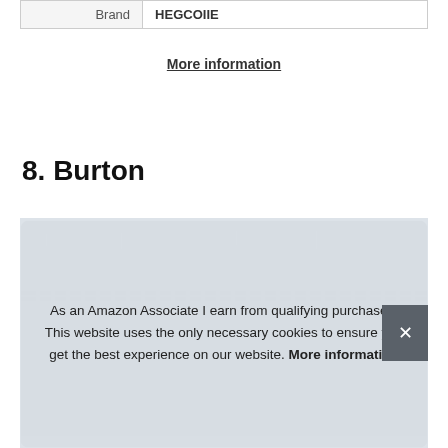| Brand | HEGCOIIE |
| --- | --- |
| Brand | HEGCOIIE |
More information
8. Burton
[Figure (photo): Photo of a dark gray fuzzy/faux-fur zippered product (likely a pencil case or pouch) with a zipper on top, shown inside a rounded card.]
As an Amazon Associate I earn from qualifying purchases. This website uses the only necessary cookies to ensure you get the best experience on our website. More information